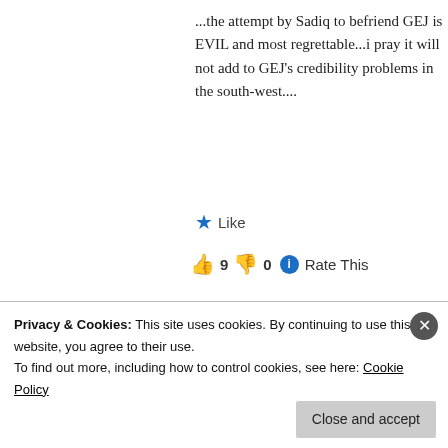...the attempt by Sadiq to befriend GEJ is EVIL and most regrettable...i pray it will not add to GEJ's credibility problems in the south-west....
★ Like
👍 9 👎 0 ℹ Rate This
[Figure (illustration): Teal and white checkered diamond pattern avatar for user CHRIS]
CHRIS says: March 6, 2014 at 2:48 pm
@ AYO SOGUNRO..... I REALLY THINK YOU SHOULD READ SADIQ ABACHA'S...
Privacy & Cookies: This site uses cookies. By continuing to use this website, you agree to their use.
To find out more, including how to control cookies, see here: Cookie Policy
Close and accept